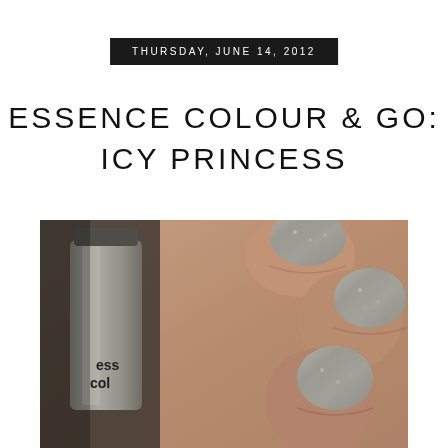THURSDAY, JUNE 14, 2012
ESSENCE COLOUR & GO: ICY PRINCESS
[Figure (photo): Close-up photo of a hand holding a small silver nail polish bottle (labeled 'ess col' — Essence Colour & Go), with fingernails painted in a shimmery silver/metallic colour called Icy Princess.]